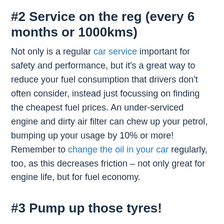#2 Service on the reg (every 6 months or 1000kms)
Not only is a regular car service important for safety and performance, but it's a great way to reduce your fuel consumption that drivers don't often consider, instead just focussing on finding the cheapest fuel prices. An under-serviced engine and dirty air filter can chew up your petrol, bumping up your usage by 10% or more! Remember to change the oil in your car regularly, too, as this decreases friction – not only great for engine life, but for fuel economy.
#3 Pump up those tyres!
Up to 50% of tyres on the road are under-inflated, meaning 50% of drivers could be lowering fuel consumption just by checking them every fortnight. Your tyres' resistance